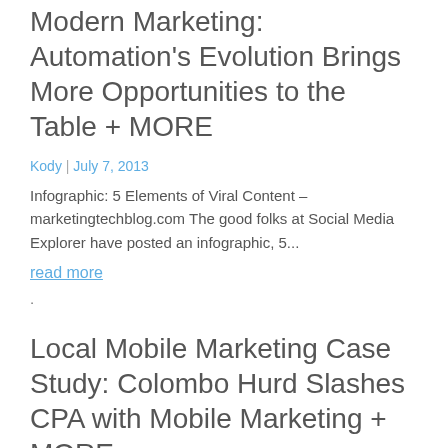Modern Marketing: Automation's Evolution Brings More Opportunities to the Table + MORE
Kody | July 7, 2013
Infographic: 5 Elements of Viral Content – marketingtechblog.com The good folks at Social Media Explorer have posted an infographic, 5...
read more
.
Local Mobile Marketing Case Study: Colombo Hurd Slashes CPA with Mobile Marketing + MORE
Kody | July 4, 2013
Benchmark 5: Songs for Fireworks, Campfires and More! – benchmarkemail.com/blogs Most of my memories of the 4th growing up are...